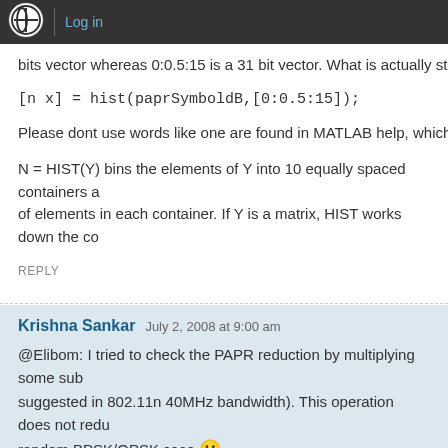WordPress logo | Log in
bits vector whereas 0:0.5:15 is a 31 bit vector. What is actually stored n
[n x] = hist(paprSymboldB,[0:0.5:15]);
Please dont use words like one are found in MATLAB help, which i am
N = HIST(Y) bins the elements of Y into 10 equally spaced containers a of elements in each container. If Y is a matrix, HIST works down the co
REPLY
Krishna Sankar  July 2, 2008 at 9:00 am
@Elibom: I tried to check the PAPR reduction by multiplying some sub suggested in 802.11n 40MHz bandwidth). This operation does not redu random BPSK/QPSK case 🙁
REPLY